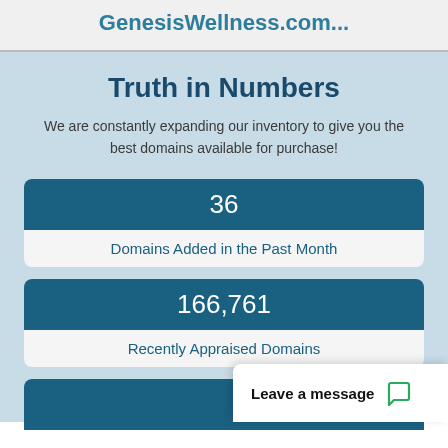Find more domains similar to GenesisWellness.com...
Truth in Numbers
We are constantly expanding our inventory to give you the best domains available for purchase!
36
Domains Added in the Past Month
166,761
Recently Appraised Domains
Leave a message